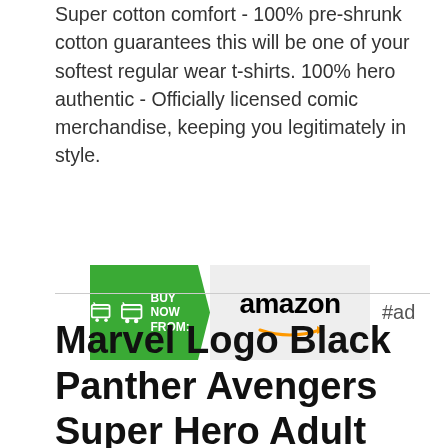Super cotton comfort - 100% pre-shrunk cotton guarantees this will be one of your softest regular wear t-shirts. 100% hero authentic - Officially licensed comic merchandise, keeping you legitimately in style.
[Figure (other): Buy Now From Amazon button with green arrow badge on left showing shopping cart icon and 'BUY NOW FROM:' text, and Amazon logo with orange smile arrow on grey background on right. '#ad' label appears to the right of the button.]
Marvel Logo Black Panther Avengers Super Hero Adult Graphic Men's T-Shirt